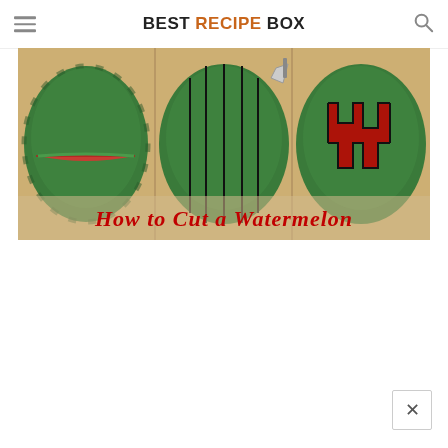BEST RECIPE BOX
[Figure (photo): Three-panel photo showing steps how to cut a watermelon: left panel shows a watermelon with a horizontal slice revealing red flesh, middle panel shows a watermelon cut into a grid pattern with vertical cuts, right panel shows a watermelon with zigzag-patterned cuts exposing red interior. Text overlay reads 'How to Cut a Watermelon' in red cursive font on a light wooden background.]